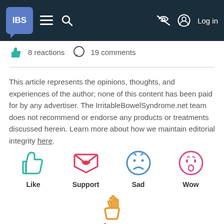IBS (logo) | menu | search | (eye-off) | Log in
8 reactions  19 comments
This article represents the opinions, thoughts, and experiences of the author; none of this content has been paid for by any advertiser. The IrritableBowelSyndrome.net team does not recommend or endorse any products or treatments discussed herein. Learn more about how we maintain editorial integrity here.
[Figure (infographic): Four reaction emoji icons in a row: Like (teal thumbs up), Support (red/pink envelope with heart), Sad (blue sad face), Wow (pink surprised face). Below: Same (orange waving hand). Each has a bold label beneath.]